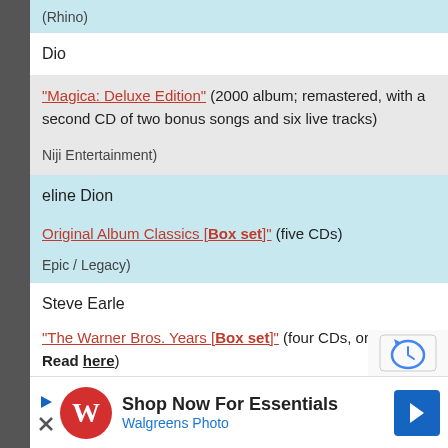(Rhino)
Dio
"Magica: Deluxe Edition" (2000 album; remastered, with a second CD of two bonus songs and six live tracks)
Niji Entertainment)
Celine Dion
Original Album Classics [Box set]" (five CDs)
Epic / Legacy)
Steve Earle
"The Warner Bros. Years [Box set]" (four CDs, one DVD; Read here)
[Figure (infographic): Walgreens Photo advertisement banner: Shop Now For Essentials]